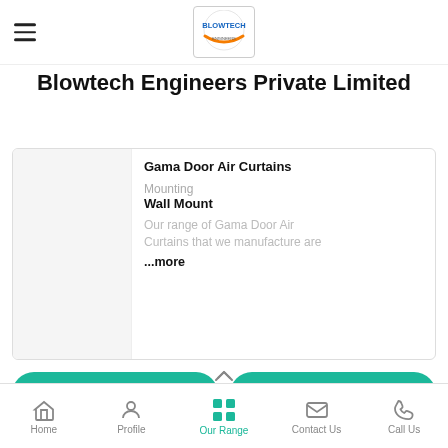Blowtech Engineers Private Limited
Blowtech Engineers Private Limited
Gama Door Air Curtains
Mounting
Wall Mount
Our range of Gama Door Air Curtains that we manufacture are
...more
Get Best Price
Call Now
Beta Door Air Curtains
Home  Profile  Our Range  Contact Us  Call Us